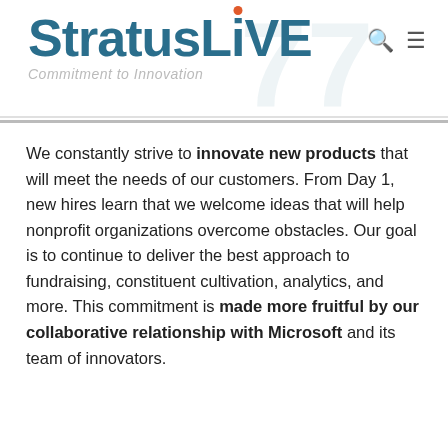[Figure (logo): StratusLIVE logo with 'Commitment to Innovation' tagline. 'Stratus' in dark teal, 'L' in dark teal, 'i' with orange/red dot, 'VE' in dark teal.]
We constantly strive to innovate new products that will meet the needs of our customers. From Day 1, new hires learn that we welcome ideas that will help nonprofit organizations overcome obstacles. Our goal is to continue to deliver the best approach to fundraising, constituent cultivation, analytics, and more. This commitment is made more fruitful by our collaborative relationship with Microsoft and its team of innovators.